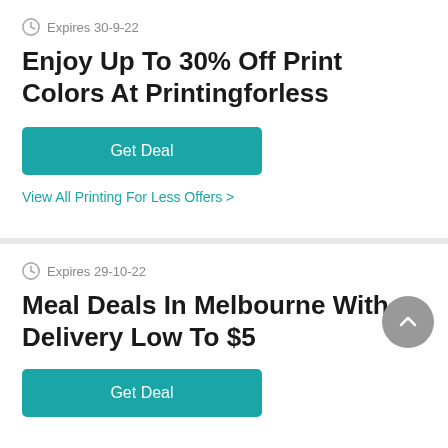Expires 30-9-22
Enjoy Up To 30% Off Print Colors At Printingforless
Get Deal
View All Printing For Less Offers >
Expires 29-10-22
Meal Deals In Melbourne With Delivery Low To $5
Get Deal